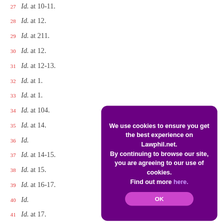27 Id. at 10-11.
28 Id. at 12.
29 Id. at 211.
30 Id. at 12.
31 Id. at 12-13.
32 Id. at 1.
33 Id. at 1.
34 Id. at 104.
35 Id. at 14.
36 Id.
37 Id. at 14-15.
38 Id. at 15.
39 Id. at 16-17.
40 Id.
41 Id. at 17.
[Figure (screenshot): Cookie consent modal overlay with purple background reading: We use cookies to ensure you get the best experience on Lawphil.net. By continuing to browse our site, you are agreeing to our use of cookies. Find out more here. OK button.]